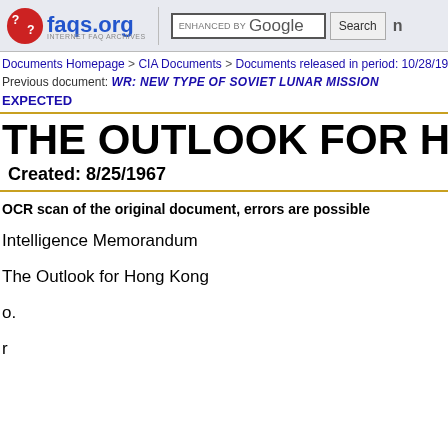faqs.org — INTERNET FAQ ARCHIVES | ENHANCED BY Google Search
Documents Homepage > CIA Documents > Documents released in period: 10/28/1967-8/8/19
Previous document: WR: NEW TYPE OF SOVIET LUNAR MISSION EXPECTED
THE OUTLOOK FOR HONG K
Created: 8/25/1967
OCR scan of the original document, errors are possible
Intelligence Memorandum
The Outlook for Hong Kong
o.
r